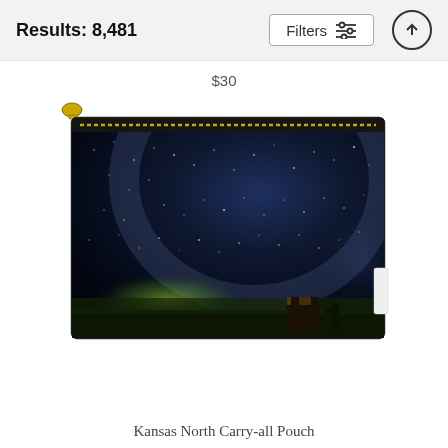Results: 8,481
$30
[Figure (photo): A zipper carry-all pouch product with a night sky / Milky Way photograph printed on it, showing a wooden cabin on the horizon with aurora-like green glow and star field. Gold zipper pull at top left.]
Kansas North Carry-all Pouch